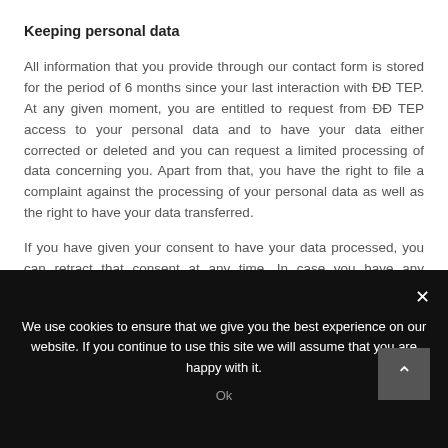Keeping personal data
All information that you provide through our contact form is stored for the period of 6 months since your last interaction with ĐĐ TEP. At any given moment, you are entitled to request from ĐĐ TEP access to your personal data and to have your data either corrected or deleted and you can request a limited processing of data concerning you. Apart from that, you have the right to file a complaint against the processing of your personal data as well as the right to have your data transferred.
If you have given your consent to have your data processed, you can retract that consent at any time. In case you have any questions connected with the protection of personal data or you would like to have
We use cookies to ensure that we give you the best experience on our website. If you continue to use this site we will assume that you are happy with it.
Ok